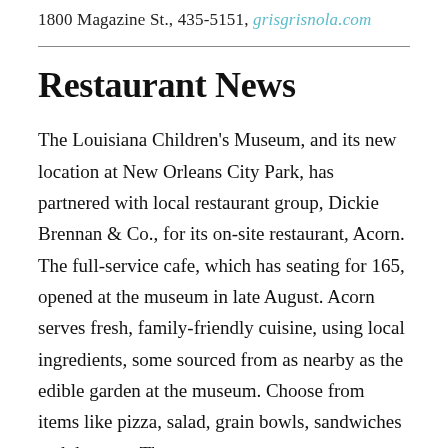1800 Magazine St., 435-5151, grisgrisnola.com
Restaurant News
The Louisiana Children's Museum, and its new location at New Orleans City Park, has partnered with local restaurant group, Dickie Brennan & Co., for its on-site restaurant, Acorn. The full-service cafe, which has seating for 165, opened at the museum in late August. Acorn serves fresh, family-friendly cuisine, using local ingredients, some sourced from as nearby as the edible garden at the museum. Choose from items like pizza, salad, grain bowls, sandwiches and desserts. The